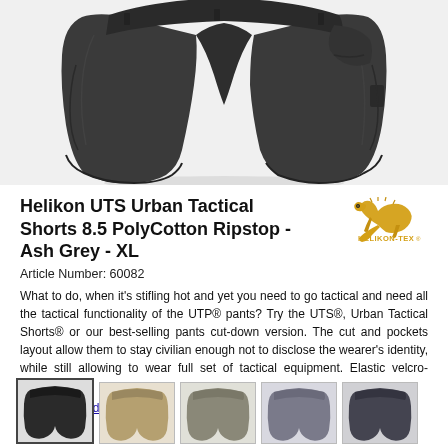[Figure (photo): Dark grey/black tactical shorts (Helikon UTS) shown from front, floating product shot on white background]
Helikon UTS Urban Tactical Shorts 8.5 PolyCotton Ripstop - Ash Grey - XL
Article Number: 60082
What to do, when it's stifling hot and yet you need to go tactical and need all the tactical functionality of the UTP® pants? Try the UTS®, Urban Tactical Shorts® or our best-selling pants cut-down version. The cut and pockets layout allow them to stay civilian enough not to disclose the wearer's identity, while still allowing to wear full set of tactical equipment. Elastic velcro-closed...
(Continue reading)
[Figure (photo): Row of five thumbnail images showing the tactical shorts in different colors: black (selected), khaki/tan, grey-tan, medium grey, dark grey]